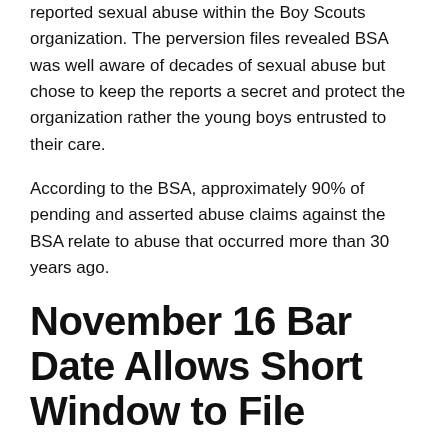reported sexual abuse within the Boy Scouts organization. The perversion files revealed BSA was well aware of decades of sexual abuse but chose to keep the reports a secret and protect the organization rather the young boys entrusted to their care.
According to the BSA, approximately 90% of pending and asserted abuse claims against the BSA relate to abuse that occurred more than 30 years ago.
November 16 Bar Date Allows Short Window to File
Abuse victims only have until November 16, 2020 at